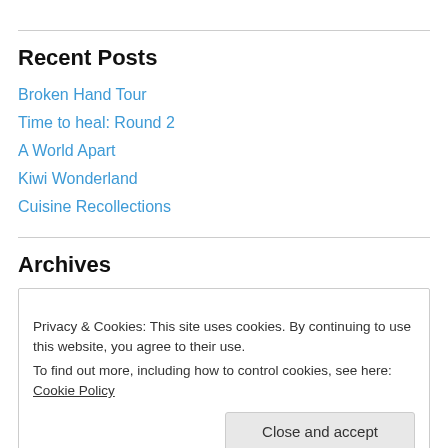Recent Posts
Broken Hand Tour
Time to heal: Round 2
A World Apart
Kiwi Wonderland
Cuisine Recollections
Archives
Privacy & Cookies: This site uses cookies. By continuing to use this website, you agree to their use.
To find out more, including how to control cookies, see here: Cookie Policy
September 2014